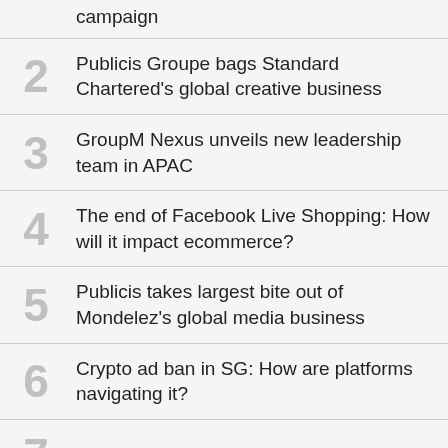campaign
2 Publicis Groupe bags Standard Chartered's global creative business
3 GroupM Nexus unveils new leadership team in APAC
4 The end of Facebook Live Shopping: How will it impact ecommerce?
5 Publicis takes largest bite out of Mondelez's global media business
6 Crypto ad ban in SG: How are platforms navigating it?
7 Section 377A is repealed: Does this